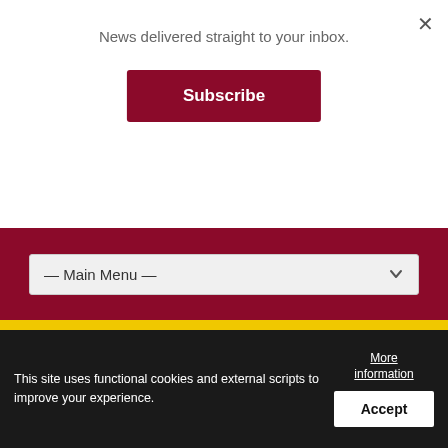News delivered straight to your inbox.
Subscribe
— Main Menu —
[Figure (screenshot): Mobil Smiles 500,000 points giveaway advertisement banner with blue gradient background, showing '500,000 Mobil Smiles points giveaway!' on the left and 'Be 1 of 10 winners to receive 50,000 Mobil Smiles points' on the right with Mobil logo]
SSC free clinic draws 18 swimmers
This site uses functional cookies and external scripts to improve your experience.
More information
Accept